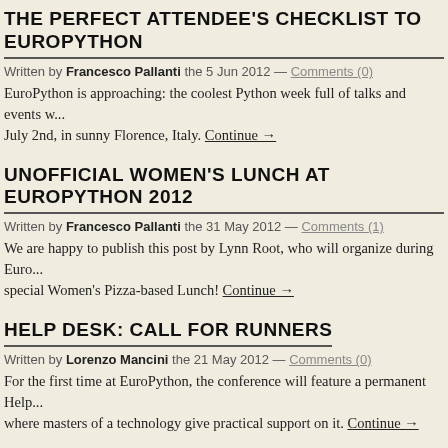THE PERFECT ATTENDEE'S CHECKLIST TO EUROPYTHON
Written by Francesco Pallanti the 5 Jun 2012 — Comments (0)
EuroPython is approaching: the coolest Python week full of talks and events w... July 2nd, in sunny Florence, Italy. Continue →
UNOFFICIAL WOMEN'S LUNCH AT EUROPYTHON 2012
Written by Francesco Pallanti the 31 May 2012 — Comments (1)
We are happy to publish this post by Lynn Root, who will organize during Euro... special Women's Pizza-based Lunch! Continue →
HELP DESK: CALL FOR RUNNERS
Written by Lorenzo Mancini the 21 May 2012 — Comments (0)
For the first time at EuroPython, the conference will feature a permanent Help... where masters of a technology give practical support on it. Continue →
PYEVENTS ANNOUNCED!
Written by Francesco Pallanti the 14 May 2012 — Comments (4)